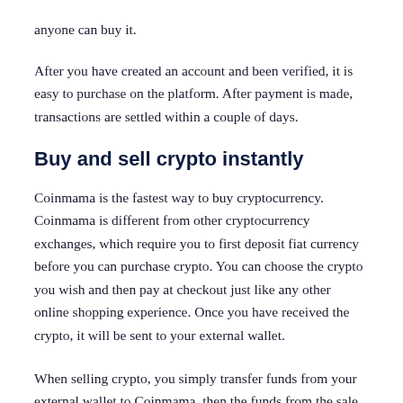anyone can buy it.
After you have created an account and been verified, it is easy to purchase on the platform. After payment is made, transactions are settled within a couple of days.
Buy and sell crypto instantly
Coinmama is the fastest way to buy cryptocurrency. Coinmama is different from other cryptocurrency exchanges, which require you to first deposit fiat currency before you can purchase crypto. You can choose the crypto you wish and then pay at checkout just like any other online shopping experience. Once you have received the crypto, it will be sent to your external wallet.
When selling crypto, you simply transfer funds from your external wallet to Coinmama, then the funds from the sale are sent directly to your bank account. This transaction flow is